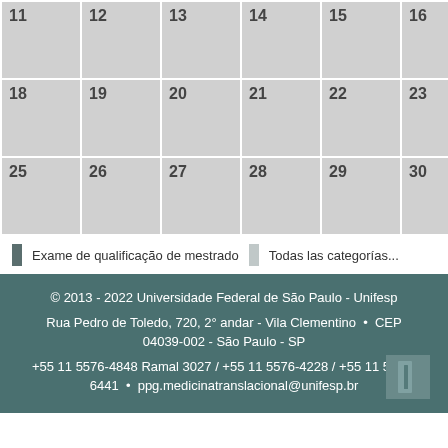|  |  |  |  |  |  |  |
| --- | --- | --- | --- | --- | --- | --- |
| 11 | 12 | 13 | 14 | 15 | 16 | 17 |
| 18 | 19 | 20 | 21 | 22 | 23 | 24 |
| 25 | 26 | 27 | 28 | 29 | 30 | 31 |
Exame de qualificação de mestrado   Todas las categorías...
© 2013 - 2022 Universidade Federal de São Paulo - Unifesp
Rua Pedro de Toledo, 720, 2° andar - Vila Clementino • CEP 04039-002 - São Paulo - SP
+55 11 5576-4848 Ramal 3027 / +55 11 5576-4228 / +55 11 5549-6441 • ppg.medicinatranslacional@unifesp.br